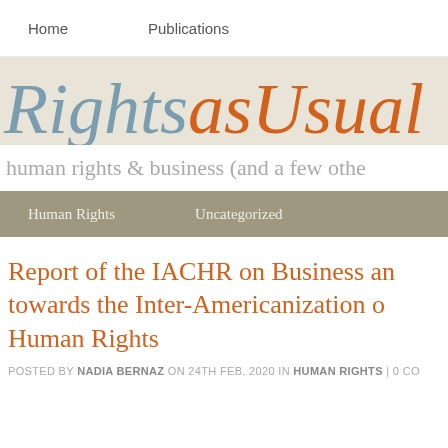Home   Publications
RightsasUsual
human rights & business (and a few othe
Human Rights   Uncategorized
Report of the IACHR on Business and towards the Inter-Americanization of Human Rights
POSTED BY NADIA BERNAZ ON 24TH FEB. 2020 IN HUMAN RIGHTS | 0 CO